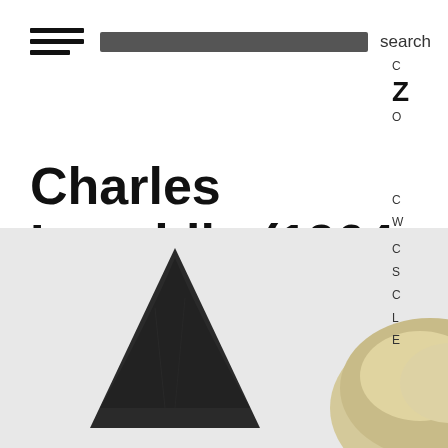search
Charles Laughlin (1964 – ) □□□
[Figure (photo): Black and white photograph showing a dark pointed shape (possibly a hat or silhouette) on the left, and a person with white/blonde hair on the right side, partially visible.]